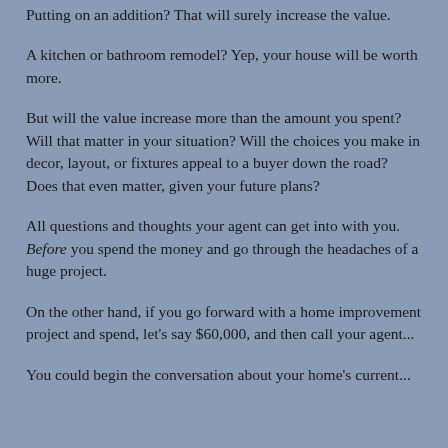Putting on an addition? That will surely increase the value.
A kitchen or bathroom remodel? Yep, your house will be worth more.
But will the value increase more than the amount you spent? Will that matter in your situation? Will the choices you make in decor, layout, or fixtures appeal to a buyer down the road? Does that even matter, given your future plans?
All questions and thoughts your agent can get into with you. Before you spend the money and go through the headaches of a huge project.
On the other hand, if you go forward with a home improvement project and spend, let's say $60,000, and then call your agent...
You could begin the conversation about your home's current...